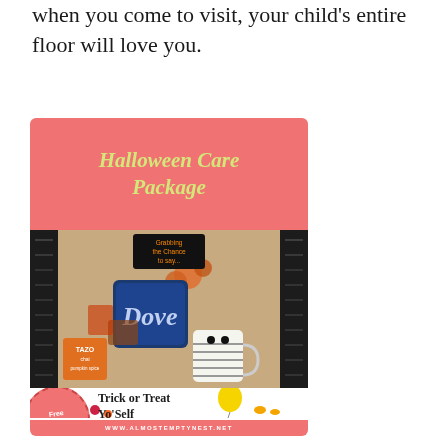when you come to visit, your child's entire floor will love you.
[Figure (photo): Halloween Care Package image showing a coral/salmon colored banner at top with text 'Halloween Care Package' in yellow-green italic font, a photo of a care package box containing Dove chocolate, TAZO tea, a mummy mug, pumpkin decorations, and various Halloween treats, a 'Free Printables' circle badge in coral, 'Trick or Treat Yo'Self' text with balloon and candy graphics, and a footer banner reading 'WWW.ALMOSTEMPTYNEST.NET'. Black decorative spines visible on left and right sides of the open box.]